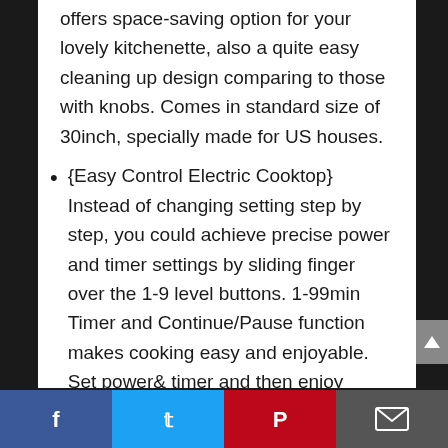offers space-saving option for your lovely kitchenette, also a quite easy cleaning up design comparing to those with knobs. Comes in standard size of 30inch, specially made for US houses.
{Easy Control Electric Cooktop} Instead of changing setting step by step, you could achieve precise power and timer settings by sliding finger over the 1-9 level buttons. 1-99min Timer and Continue/Pause function makes cooking easy and enjoyable. Set power& timer and then enjoy leisure cooking time.
Social share bar: Facebook, Twitter, Pinterest, Email